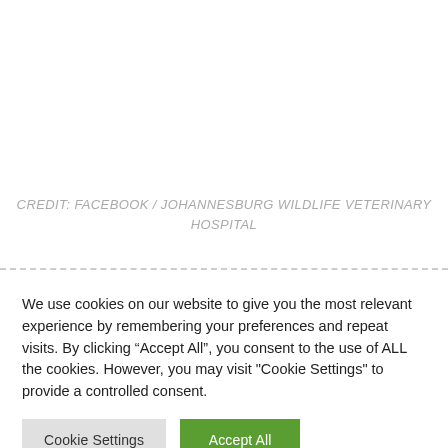CREDIT: FACEBOOK / JOHANNESBURG WILDLIFE VETERINARY HOSPITAL
We use cookies on our website to give you the most relevant experience by remembering your preferences and repeat visits. By clicking “Accept All”, you consent to the use of ALL the cookies. However, you may visit "Cookie Settings" to provide a controlled consent.